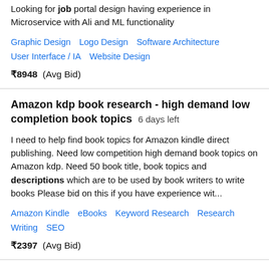Looking for job portal design having experience in Microservice with Ali and ML functionality
Graphic Design   Logo Design   Software Architecture   User Interface / IA   Website Design
₹8948  (Avg Bid)
Amazon kdp book research - high demand low completion book topics  6 days left
I need to help find book topics for Amazon kindle direct publishing. Need low competition high demand book topics on Amazon kdp. Need 50 book title, book topics and descriptions which are to be used by book writers to write books Please bid on this if you have experience wit...
Amazon Kindle   eBooks   Keyword Research   Research   Writing   SEO
₹2397  (Avg Bid)